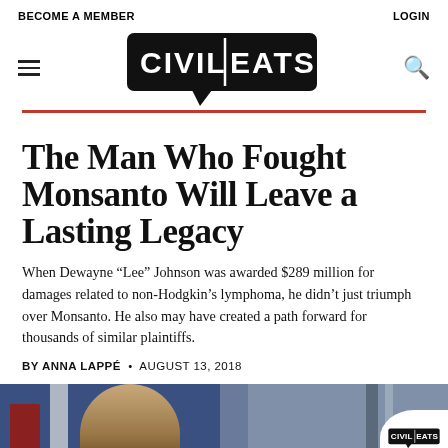BECOME A MEMBER   LOGIN
[Figure (logo): Civil Eats logo — bold black speech-bubble style wordmark with white text]
The Man Who Fought Monsanto Will Leave a Lasting Legacy
When Dewayne “Lee” Johnson was awarded $289 million for damages related to non-Hodgkin’s lymphoma, he didn’t just triumph over Monsanto. He also may have created a path forward for thousands of similar plaintiffs.
BY ANNA LAPPÉ • AUGUST 13, 2018
[Figure (photo): Photo of Dewayne Lee Johnson with Civil Eats watermark logo in bottom right corner]